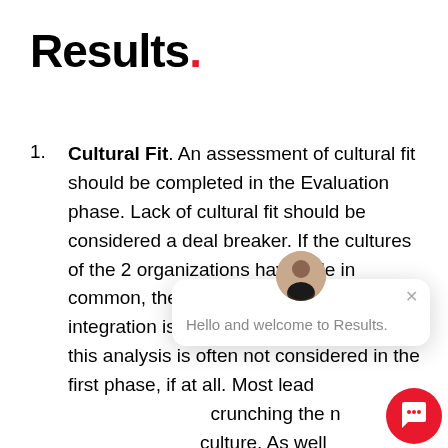Results.
Cultural Fit. An assessment of cultural fit should be completed in the Evaluation phase. Lack of cultural fit should be considered a deal breaker. If the cultures of the 2 organizations have little in common, the likelihood of successful integration is extremely low. Unfortunately, this analysis is often not considered in the first phase, if at all. Most leaders are more comfortable crunching the numbers than assessing culture. As well, acquisitions can make this assessment tricky. However, there are simple ways to successfully assess cultural fit in conjunction with strategic fit. It is critically
[Figure (screenshot): Chat widget overlay showing avatar photo, close button (×), and greeting text 'Hello and welcome to Results.' with a red circular chat button in the bottom right corner.]